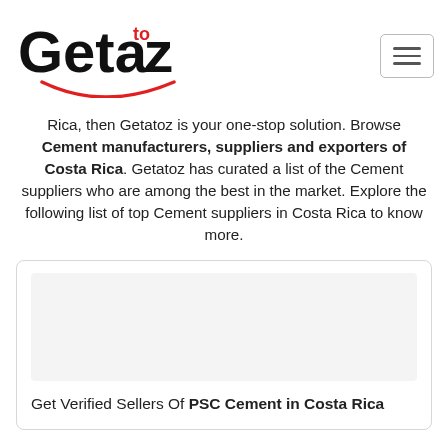[Figure (logo): Getatoz logo with 'to' superscript in red between 'Geta' and 'z', with a red smile arc below]
Rica, then Getatoz is your one-stop solution. Browse Cement manufacturers, suppliers and exporters of Costa Rica. Getatoz has curated a list of the Cement suppliers who are among the best in the market. Explore the following list of top Cement suppliers in Costa Rica to know more.
Get Verified Sellers Of PSC Cement in Costa Rica